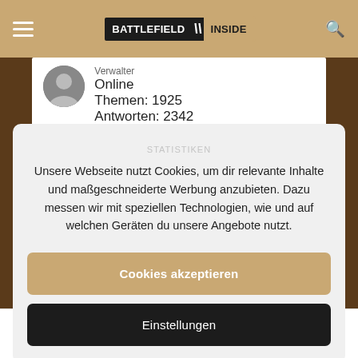BATTLEFIELD INSIDE
Verwalter
Online
Themen: 1925
Antworten: 2342
Unsere Webseite nutzt Cookies, um dir relevante Inhalte und maßgeschneiderte Werbung anzubieten. Dazu messen wir mit speziellen Technologien, wie und auf welchen Geräten du unsere Angebote nutzt.
Cookies akzeptieren
Einstellungen
Zeit. Bisher war nie konkret die